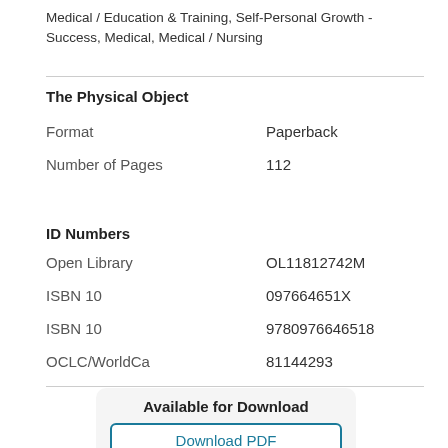Medical / Education & Training, Self-Personal Growth - Success, Medical, Medical / Nursing
The Physical Object
|  |  |
| --- | --- |
| Format | Paperback |
| Number of Pages | 112 |
ID Numbers
|  |  |
| --- | --- |
| Open Library | OL11812742M |
| ISBN 10 | 097664651X |
| ISBN 10 | 9780976646518 |
| OCLC/WorldCa | 81144293 |
Available for Download
Download PDF
Download EPUB